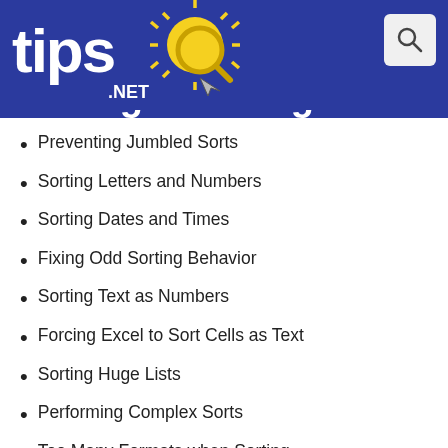[Figure (logo): tips.NET website logo with sun graphic on dark blue background header bar]
Sorting Challenges
Preventing Jumbled Sorts
Sorting Letters and Numbers
Sorting Dates and Times
Fixing Odd Sorting Behavior
Sorting Text as Numbers
Forcing Excel to Sort Cells as Text
Sorting Huge Lists
Performing Complex Sorts
Too Many Formats when Sorting
Incomplete and Corrupt Sorting
Sorting while Ignoring Leading Characters
Ignoring Selected Words when Sorting
Sorting Data on Protected Worksheets
Sorting Data Containing Merged Cells
Can't Sort Imported Data
Incorrect Links after Sorting Hyperlinks